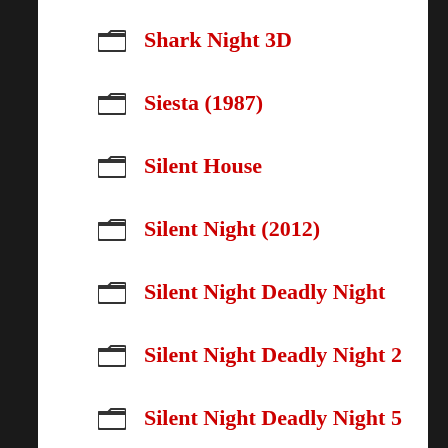Shark Night 3D
Siesta (1987)
Silent House
Silent Night (2012)
Silent Night Deadly Night
Silent Night Deadly Night 2
Silent Night Deadly Night 5
Silent Scream (1980)
Silver Bullet
Sinister 2
Skeleton Key
Slasher House
Slaughter (2009)
Slaughter Tales
Sleepaway Camp